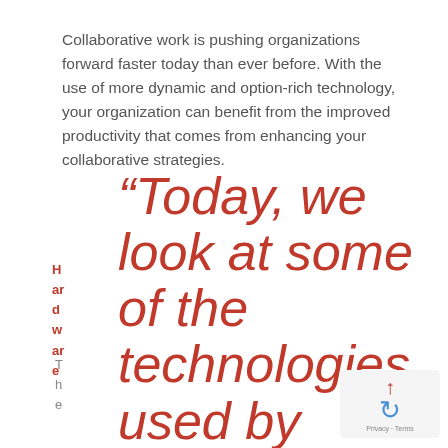Collaborative work is pushing organizations forward faster today than ever before. With the use of more dynamic and option-rich technology, your organization can benefit from the improved productivity that comes from enhancing your collaborative strategies.
H ar d w ar e
T h e
“Today, we look at some of the technologies used by organizations
[Figure (other): reCAPTCHA widget with up arrow and rotating arrows logo, Privacy · Terms footer]